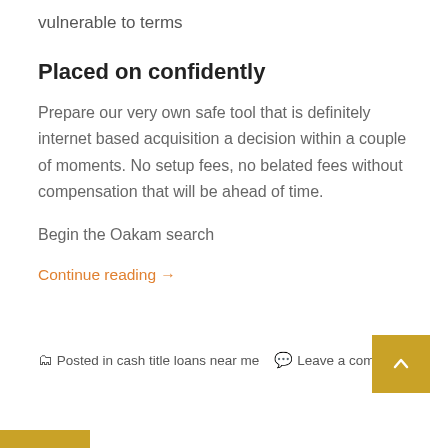vulnerable to terms
Placed on confidently
Prepare our very own safe tool that is definitely internet based acquisition a decision within a couple of moments. No setup fees, no belated fees without compensation that will be ahead of time.
Begin the Oakam search
Continue reading →
Posted in cash title loans near me   Leave a comment